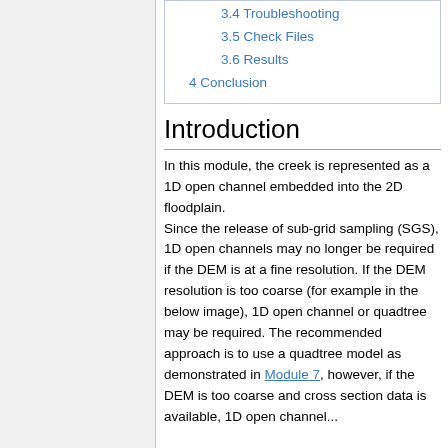3.4 Troubleshooting
3.5 Check Files
3.6 Results
4 Conclusion
Introduction
In this module, the creek is represented as a 1D open channel embedded into the 2D floodplain. Since the release of sub-grid sampling (SGS), 1D open channels may no longer be required if the DEM is at a fine resolution. If the DEM resolution is too coarse (for example in the below image), 1D open channel or quadtree may be required. The recommended approach is to use a quadtree model as demonstrated in Module 7, however, if the DEM is too coarse and cross section data is available, 1D open channel...